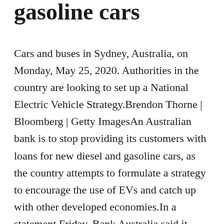gasoline cars
Cars and buses in Sydney, Australia, on Monday, May 25, 2020. Authorities in the country are looking to set up a National Electric Vehicle Strategy.Brendon Thorne | Bloomberg | Getty ImagesAn Australian bank is to stop providing its customers with loans for new diesel and gasoline cars, as the country attempts to formulate a strategy to encourage the use of EVs and catch up with other developed economies.In a statement Friday, Bank Australia said it would scrap loans for new fossil fuel vehicles from 2025. Sasha Courville, its chief impact officer, said that date had been picked "because the change to electric vehicles needs to happen quickly."The bank, Courville added, believed this could happen "with the right